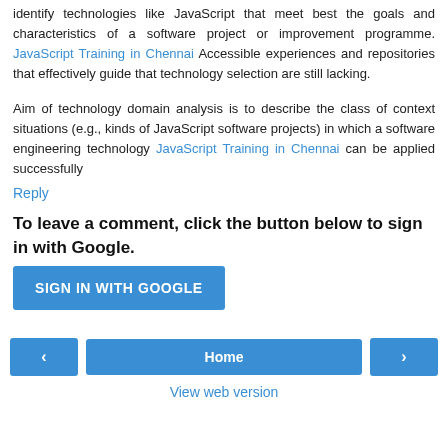identify technologies like JavaScript that meet best the goals and characteristics of a software project or improvement programme. JavaScript Training in Chennai Accessible experiences and repositories that effectively guide that technology selection are still lacking.
Aim of technology domain analysis is to describe the class of context situations (e.g., kinds of JavaScript software projects) in which a software engineering technology JavaScript Training in Chennai can be applied successfully
Reply
To leave a comment, click the button below to sign in with Google.
SIGN IN WITH GOOGLE
Home
View web version